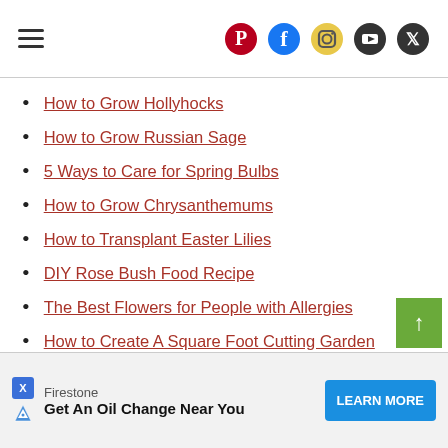Navigation header with hamburger menu and social icons (Pinterest, Facebook, Instagram, YouTube, Twitter)
How to Grow Hollyhocks
How to Grow Russian Sage
5 Ways to Care for Spring Bulbs
How to Grow Chrysanthemums
How to Transplant Easter Lilies
DIY Rose Bush Food Recipe
The Best Flowers for People with Allergies
How to Create A Square Foot Cutting Garden
Firestone — Get An Oil Change Near You — LEARN MORE